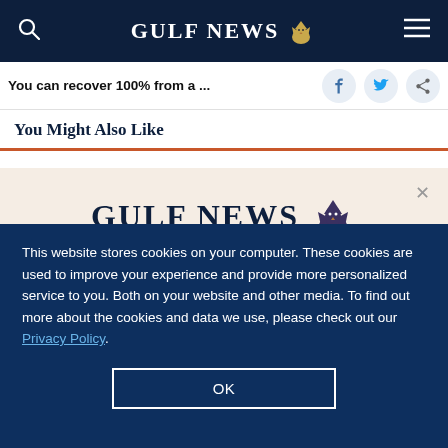GULF NEWS
You can recover 100% from a ...
You Might Also Like
[Figure (other): Gulf News logo with eagle emblem and offer overlay: 'A special offer for our readers — Get the two years All-Access subscription now']
This website stores cookies on your computer. These cookies are used to improve your experience and provide more personalized service to you. Both on your website and other media. To find out more about the cookies and data we use, please check out our Privacy Policy.
OK